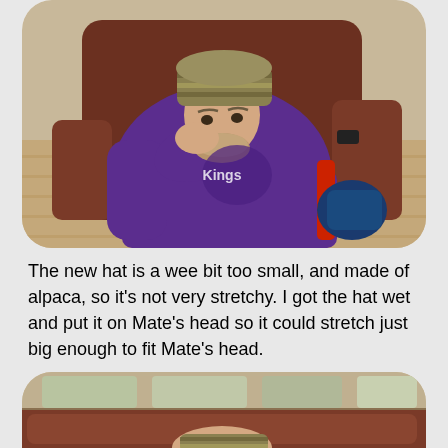[Figure (photo): A man wearing a patterned knit hat/headband and a purple hoodie sweatshirt, sitting in a brown leather recliner chair with his hand raised to his chin in a thoughtful pose. Hardwood floor visible in background.]
The new hat is a wee bit too small, and made of alpaca, so it's not very stretchy. I got the hat wet and put it on Mate's head so it could stretch just big enough to fit Mate's head.
[Figure (photo): A brown leather couch/sofa with storage containers/bins on shelves in the background, and a person lying on the couch wearing a knit hat visible at the bottom.]